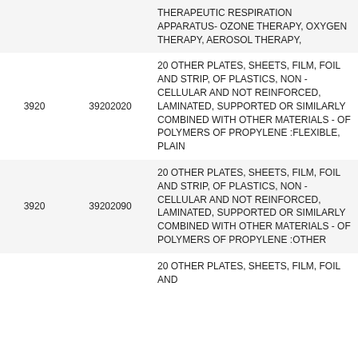|  |  | Description | Rate |
| --- | --- | --- | --- |
|  |  | THERAPEUTIC RESPIRATION APPARATUS- OZONE THERAPY, OXYGEN THERAPY, AEROSOL THERAPY, |  |
| 3920 | 39202020 | 20 OTHER PLATES, SHEETS, FILM, FOIL AND STRIP, OF PLASTICS, NON - CELLULAR AND NOT REINFORCED, LAMINATED, SUPPORTED OR SIMILARLY COMBINED WITH OTHER MATERIALS - OF POLYMERS OF PROPYLENE :FLEXIBLE, PLAIN | 18% |
| 3920 | 39202090 | 20 OTHER PLATES, SHEETS, FILM, FOIL AND STRIP, OF PLASTICS, NON - CELLULAR AND NOT REINFORCED, LAMINATED, SUPPORTED OR SIMILARLY COMBINED WITH OTHER MATERIALS - OF POLYMERS OF PROPYLENE :OTHER | 18% |
|  |  | 20 OTHER PLATES, SHEETS, FILM, FOIL AND |  |